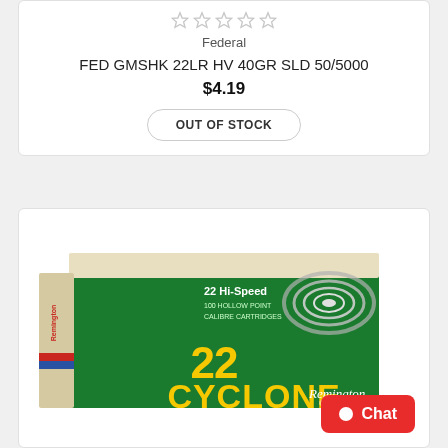[Figure (other): Five empty star rating icons in a row]
Federal
FED GMSHK 22LR HV 40GR SLD 50/5000
$4.19
OUT OF STOCK
[Figure (photo): Box of Remington 22 Cyclone 22 Hi-Speed hollow point cartridges on white background]